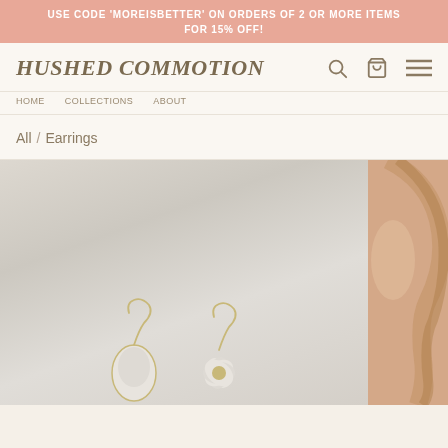USE CODE 'MOREISBETTER' ON ORDERS OF 2 OR MORE ITEMS FOR 15% OFF!
HUSHED COMMOTION
All / Earrings
[Figure (photo): Product photo of delicate floral and teardrop earrings with mother of pearl and gold details on a light grey background]
[Figure (photo): Close-up photo of a woman's neck and ear area wearing a light blue top, warm skin tones]